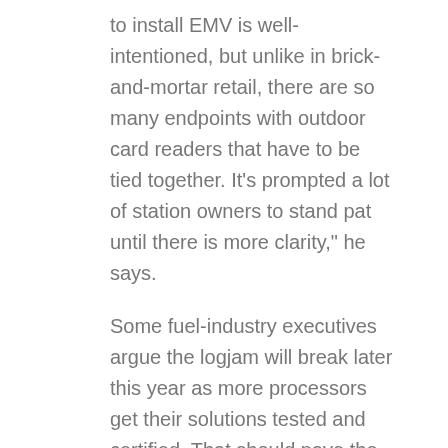to install EMV is well-intentioned, but unlike in brick-and-mortar retail, there are so many endpoints with outdoor card readers that have to be tied together. It’s prompted a lot of station owners to stand pat until there is more clarity,” he says.
Some fuel-industry executives argue the logjam will break later this year as more processors get their solutions tested and certified. That should pave the way for the major brands to begin upgrading their stations in earnest, says Haecker.
‘Hotbeds of Fraud’
But just how far along processors are in